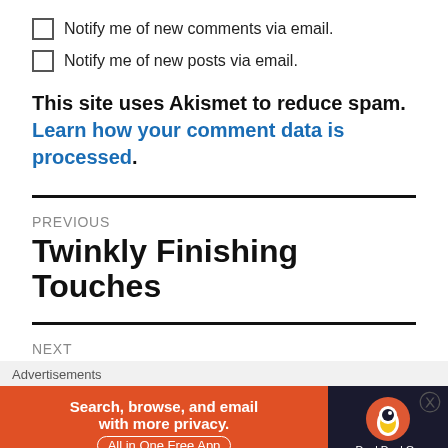Notify me of new comments via email.
Notify me of new posts via email.
This site uses Akismet to reduce spam. Learn how your comment data is processed.
PREVIOUS
Twinkly Finishing Touches
NEXT
4 Mornings Peculiarities
Advertisements
[Figure (screenshot): DuckDuckGo advertisement banner: Search, browse, and email with more privacy. All in One Free App.]